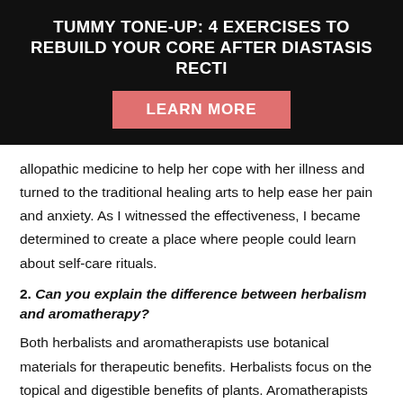TUMMY TONE-UP: 4 EXERCISES TO REBUILD YOUR CORE AFTER DIASTASIS RECTI
[Figure (other): LEARN MORE button in salmon/pink color on black background]
allopathic medicine to help her cope with her illness and turned to the traditional healing arts to help ease her pain and anxiety. As I witnessed the effectiveness, I became determined to create a place where people could learn about self-care rituals.
2. Can you explain the difference between herbalism and aromatherapy?
Both herbalists and aromatherapists use botanical materials for therapeutic benefits. Herbalists focus on the topical and digestible benefits of plants. Aromatherapists focus on the emotional and balancing benefits of essential oils through inhalation. Herbalists focus on extracting the life force of the whole plant matter while aromatherapists focus on extracting